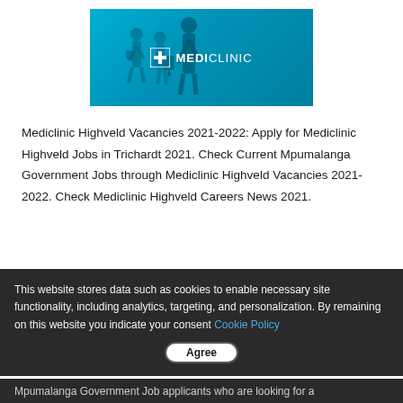[Figure (logo): Mediclinic banner with blue/cyan background showing silhouettes of people and the Mediclinic logo (square icon with cross plus 'MEDI' bold and 'CLINIC' regular in white text)]
Mediclinic Highveld Vacancies 2021-2022: Apply for Mediclinic Highveld Jobs in Trichardt 2021. Check Current Mpumalanga Government Jobs through Mediclinic Highveld Vacancies 2021-2022. Check Mediclinic Highveld Careers News 2021.
This website stores data such as cookies to enable necessary site functionality, including analytics, targeting, and personalization. By remaining on this website you indicate your consent Cookie Policy
Agree
Mpumalanga Government Job applicants who are looking for a